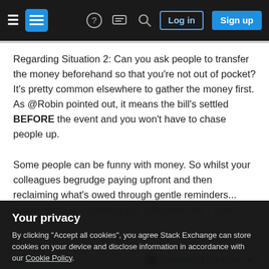Stack Exchange navigation bar with hamburger menu, logo, help, chat, search icons, Log in and Sign up buttons
Regarding Situation 2: Can you ask people to transfer the money beforehand so that you're not out of pocket? It's pretty common elsewhere to gather the money first. As @Robin pointed out, it means the bill's settled BEFORE the event and you won't have to chase people up.

Some people can be funny with money. So whilst your colleagues begrudge paying upfront and then reclaiming what's owed through gentle reminders... you're going in expecting this to happen. As I said
Your privacy
By clicking "Accept all cookies", you agree Stack Exchange can store cookies on your device and disclose information in accordance with our Cookie Policy.
Accept all cookies   Customize settings
trashpanda 1,062 ♦1 ♦12 ♦21